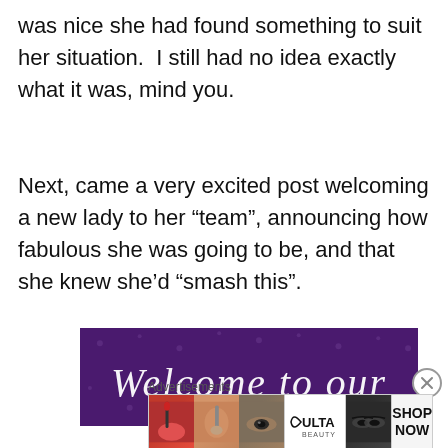was nice she had found something to suit her situation.  I still had no idea exactly what it was, mind you.
Next, came a very excited post welcoming a new lady to her “team”, announcing how fabulous she was going to be, and that she knew she’d “smash this”.
[Figure (illustration): A purple glittery banner with cursive white text reading 'Welcome to our']
Advertisements
[Figure (illustration): ULTA Beauty advertisement bar with cosmetics imagery and 'SHOP NOW' text]